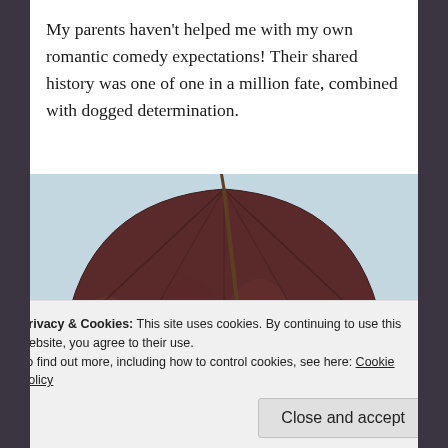My parents haven't helped me with my own romantic comedy expectations! Their shared history was one of one in a million fate, combined with dogged determination.
[Figure (photo): Photo of a dark reddish-brown umbrella held open against a light blue sky background]
Privacy & Cookies: This site uses cookies. By continuing to use this website, you agree to their use. To find out more, including how to control cookies, see here: Cookie Policy
Close and accept